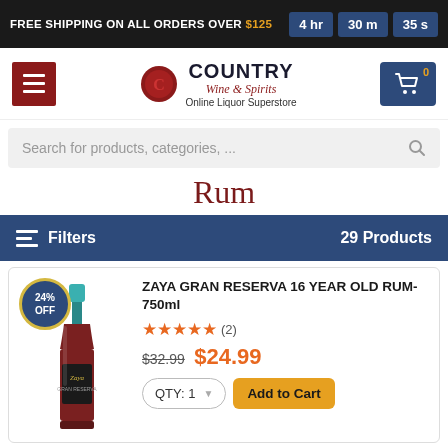FREE SHIPPING ON ALL ORDERS OVER $125  4 hr  30 m  35 s
[Figure (logo): Country Wine & Spirits Online Liquor Superstore logo with wax seal emblem]
Search for products, categories, ...
Rum
Filters  29 Products
[Figure (photo): Bottle of Zaya Gran Reserva 16 Year Old Rum 750ml with teal cap and dark amber bottle]
ZAYA GRAN RESERVA 16 YEAR OLD RUM-750ml  ★★★★★ (2)  $32.99  $24.99  QTY: 1  Add to Cart